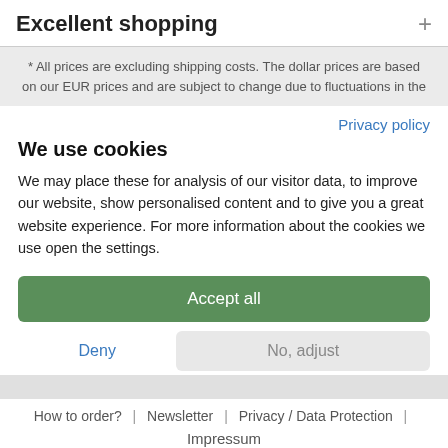Excellent shopping  +
* All prices are excluding shipping costs. The dollar prices are based on our EUR prices and are subject to change due to fluctuations in the
Privacy policy
We use cookies
We may place these for analysis of our visitor data, to improve our website, show personalised content and to give you a great website experience. For more information about the cookies we use open the settings.
Accept all
Deny
No, adjust
How to order?  |  Newsletter  |  Privacy / Data Protection  |
Impressum
Bear Family Records - Proud to be Independent - Specialised in